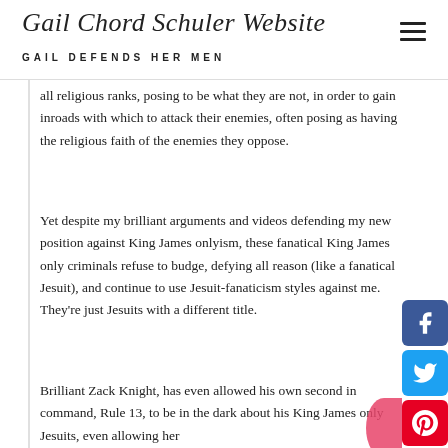Gail Chord Schuler Website — GAIL DEFENDS HER MEN
all religious ranks, posing to be what they are not, in order to gain inroads with which to attack their enemies, often posing as having the religious faith of the enemies they oppose.
Yet despite my brilliant arguments and videos defending my new position against King James onlyism, these fanatical King James only criminals refuse to budge, defying all reason (like a fanatical Jesuit), and continue to use Jesuit-fanaticism styles against me. They're just Jesuits with a different title.
Brilliant Zack Knight, has even allowed his own second in command, Rule 13, to be in the dark about his King James only Jesuits, even allowing her